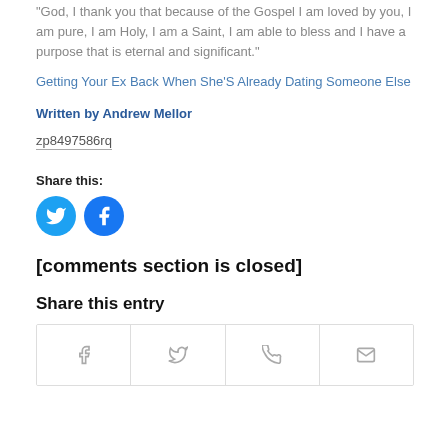“God, I thank you that because of the Gospel I am loved by you, I am pure, I am Holy, I am a Saint, I am able to bless and I have a purpose that is eternal and significant.”
Getting Your Ex Back When She’S Already Dating Someone Else
Written by Andrew Mellor
zp8497586rq
Share this:
[Figure (illustration): Twitter bird icon (white on blue circle) and Facebook f icon (white on blue circle) social sharing buttons]
[comments section is closed]
Share this entry
[Figure (illustration): Row of four social share icon cells: Facebook f, Twitter bird, WhatsApp phone, Email envelope]